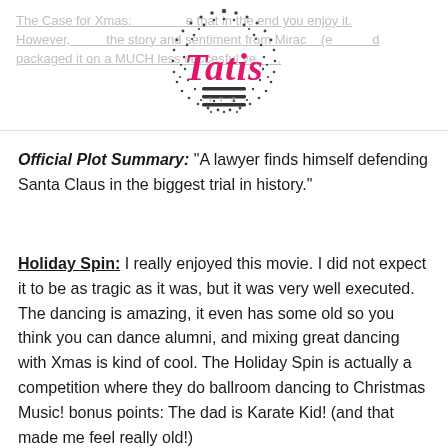The Case for Xmas: ...that in the end you enjoy it. However...the story and sentiment from Miracle...(e...packaged it on a MUCH less succesful ve...
[Figure (logo): Tatis ITS logo — circular dotted pattern background with pink cursive 'Tatis' text and hamburger menu icon, black dot border pattern]
Official Plot Summary: “A lawyer finds himself defending Santa Claus in the biggest trial in history.”
Holiday Spin: I really enjoyed this movie. I did not expect it to be as tragic as it was, but it was very well executed. The dancing is amazing, it even has some old so you think you can dance alumni, and mixing great dancing with Xmas is kind of cool. The Holiday Spin is actually a competition where they do ballroom dancing to Christmas Music! bonus points: The dad is Karate Kid! (and that made me feel really old!)